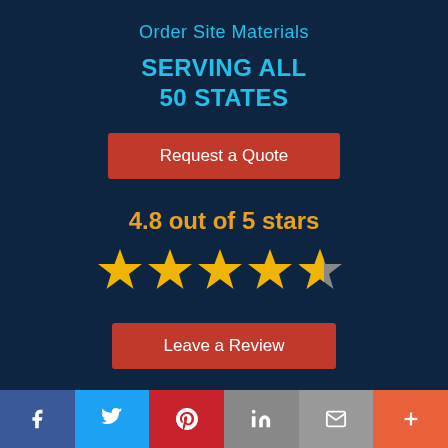Order Site Materials
SERVING ALL
50 STATES
Request a Quote
4.8 out of 5 stars
[Figure (illustration): Five stars rating graphic showing 4 full gold stars and 1 half gold/grey star]
Leave a Review
[Figure (infographic): Row of social media icons: Facebook, Twitter, LinkedIn, Instagram, Yelp in cyan rounded square boxes]
[Figure (infographic): Footer bar with 6 social share buttons: Facebook (blue), Twitter (light blue), Pinterest (red), LinkedIn (grey), Email (grey), Plus/More (orange)]